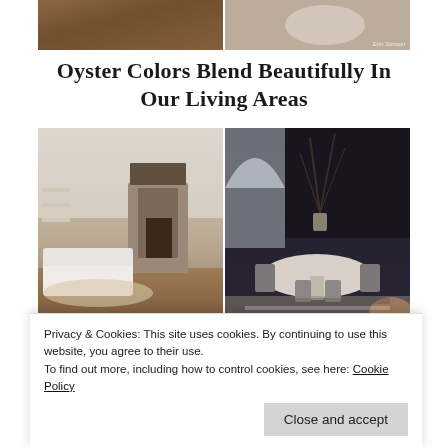[Figure (photo): Two interior room photos side by side at top of page — left shows dark wood furniture detail, right shows a light room with round white table (Saarinen-style)]
Oyster Colors Blend Beautifully In Our Living Areas
[Figure (photo): Two living room interior photos side by side — left shows a white slipcovered sofa with stone fireplace and dark wood floors (watermark: Oyster Hale), right shows a dining area with dark moody artwork, arched windows, round marble table with metal chairs]
The Color Of An Oyster Invites
Privacy & Cookies: This site uses cookies. By continuing to use this website, you agree to their use. To find out more, including how to control cookies, see here: Cookie Policy
Close and accept